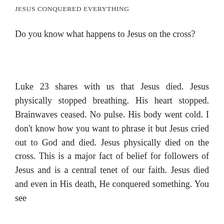JESUS CONQUERED EVERYTHING
Do you know what happens to Jesus on the cross?
Luke 23 shares with us that Jesus died. Jesus physically stopped breathing. His heart stopped. Brainwaves ceased. No pulse. His body went cold. I don't know how you want to phrase it but Jesus cried out to God and died. Jesus physically died on the cross. This is a major fact of belief for followers of Jesus and is a central tenet of our faith. Jesus died and even in His death, He conquered something. You see